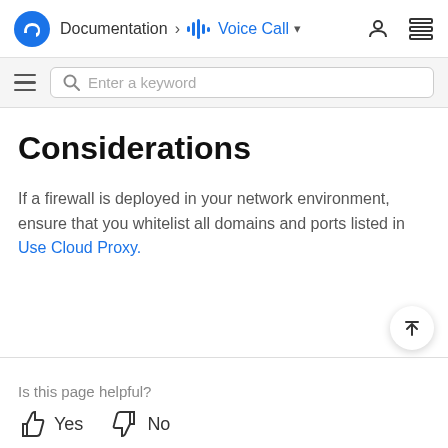Documentation > Voice Call
Considerations
If a firewall is deployed in your network environment, ensure that you whitelist all domains and ports listed in Use Cloud Proxy.
Is this page helpful? Yes No